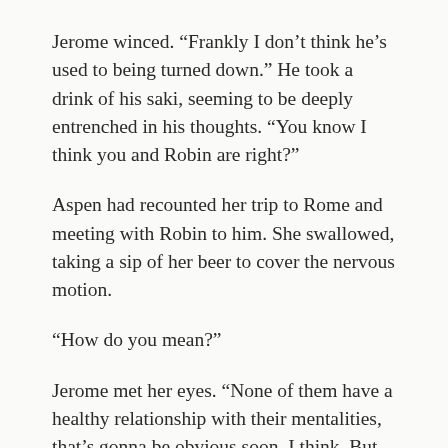Jerome winced. “Frankly I don’t think he’s used to being turned down.” He took a drink of his saki, seeming to be deeply entrenched in his thoughts. “You know I think you and Robin are right?”
Aspen had recounted her trip to Rome and meeting with Robin to him. She swallowed, taking a sip of her beer to cover the nervous motion.
“How do you mean?”
Jerome met her eyes. “None of them have a healthy relationship with their mentalities, that’s gonna be obvious soon, I think. But the only way to get them over that is to talk